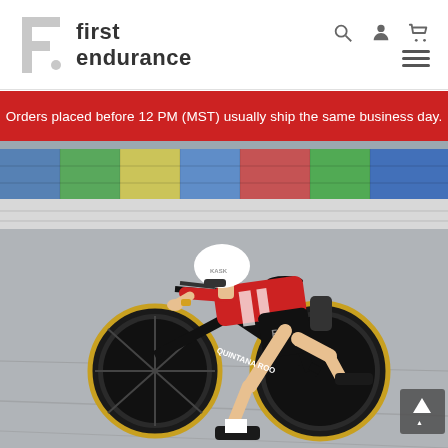first endurance
Orders placed before 12 PM (MST) usually ship the same business day.
[Figure (photo): A triathlete in a red and black kit and white KASK helmet rides a Quintana Roo time trial bike in an aerodynamic position on a racetrack. Colorful stadium seats are visible in the background.]